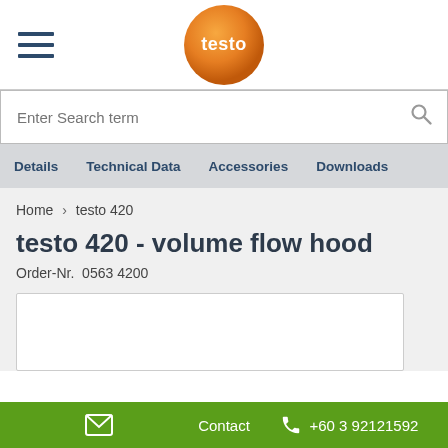[Figure (logo): Testo orange circular logo with white text 'testo']
Enter Search term
Details  Technical Data  Accessories  Downloads
Home > testo 420
testo 420 - volume flow hood
Order-Nr.  0563 4200
Contact  +60 3 92121592